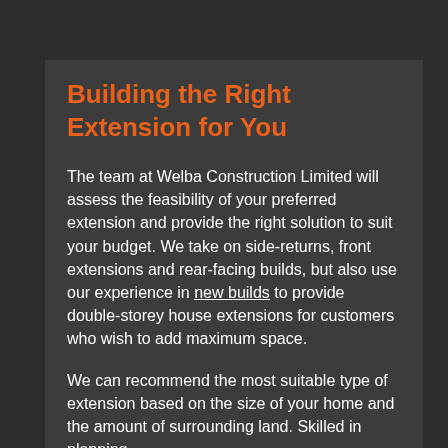Building the Right Extension for You
The team at Welba Construction Limited will assess the feasibility of your preferred extension and provide the right solution to suit your budget. We take on side-returns, front extensions and rear-facing builds, but also use our experience in new builds to provide double-storey house extensions for customers who wish to add maximum space.
We can recommend the most suitable type of extension based on the size of your home and the amount of surrounding land. Skilled in planning and design, our team is committed to...